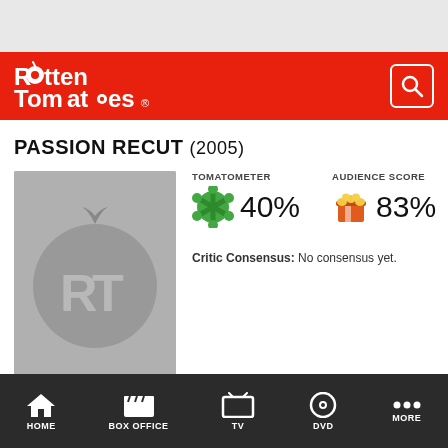[Figure (logo): Rotten Tomatoes logo in white on red header bar]
PASSION RECUT (2005)
[Figure (infographic): Tomatometer: splat icon 40%, Audience Score: popcorn icon 83%]
Critic Consensus: No consensus yet.
[Figure (photo): Movie poster placeholder with Rotten Tomatoes RT watermark logo in gray]
HOME   BOX OFFICE   TV   DVD   MORE